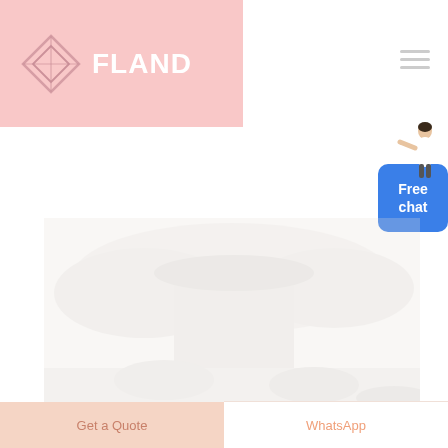[Figure (logo): FLAND brand logo with geometric diamond/chevron icon on pink background banner]
[Figure (illustration): Hamburger menu icon (three horizontal lines) in top right corner]
[Figure (illustration): Customer service representative figure above a blue rounded rectangle button showing 'Free chat']
[Figure (photo): Faded/watermark style photo of what appears to be a car or vehicle scene in the center of the page]
Get a Quote
WhatsApp